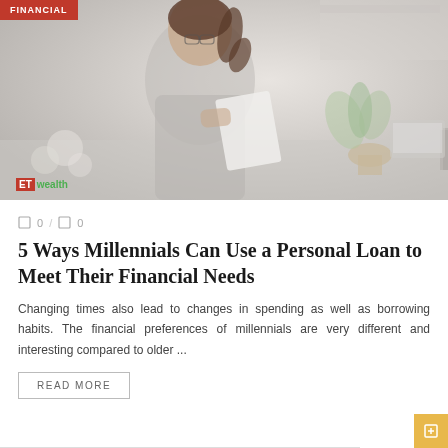[Figure (photo): A young woman with glasses reading a document at a desk, with a plant and laptop in background. ET Wealth logo in bottom left corner. Red FINANCIAL badge in top left corner.]
0 / 0
5 Ways Millennials Can Use a Personal Loan to Meet Their Financial Needs
Changing times also lead to changes in spending as well as borrowing habits. The financial preferences of millennials are very different and interesting compared to older ...
READ MORE